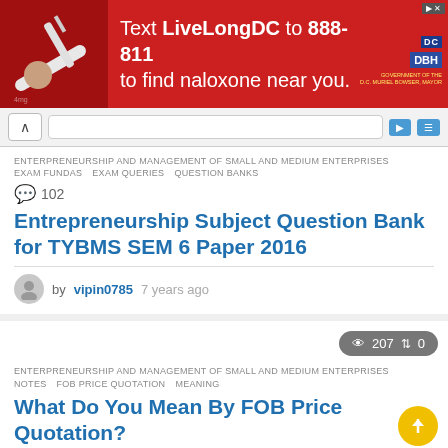[Figure (screenshot): Red advertisement banner: Text LiveLongDC to 888-811 to find naloxone near you. DC government health department logos on right.]
ENTERPRENEURSHIP AND MANAGEMENT OF SMALL AND MEDIUM ENTERPRISES
EXAM FUNDAS   EXAM QUERIES   QUESTION BANKS
💬 102
Entrepreneurship Subject Question Bank for TYBMS SEM 6 Paper 2016
by vipin0785 7 years ago
👁 207  ↑↓ 0
ENTERPRENEURSHIP AND MANAGEMENT OF SMALL AND MEDIUM ENTERPRISES
NOTES   FOB PRICE QUOTATION   MEANING
What Do You Mean By FOB Price Quotation?